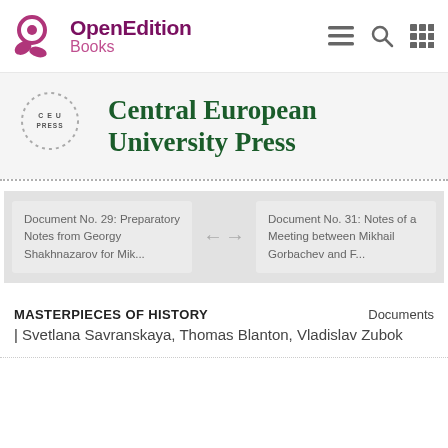[Figure (logo): OpenEdition Books logo with pink flower/leaf icon and purple OpenEdition Books text]
[Figure (logo): CEU Press logo — circular dotted ring with C E U PRESS text]
Central European University Press
Document No. 29: Preparatory Notes from Georgy Shakhnazarov for Mik...
Document No. 31: Notes of a Meeting between Mikhail Gorbachev and F...
MASTERPIECES OF HISTORY
Documents
| Svetlana Savranskaya, Thomas Blanton, Vladislav Zubok